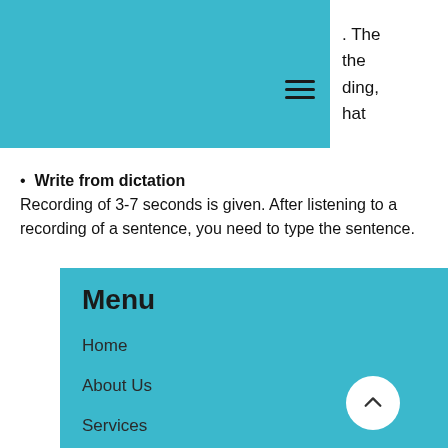[Figure (logo): Rio Overseas logo with green and brown icon and text]
. The
the
ding,
hat
Write from dictation
Recording of 3-7 seconds is given. After listening to a recording of a sentence, you need to type the sentence.
Menu
Home
About Us
Services
Courses
IELTS
IELTS Pro
PTE